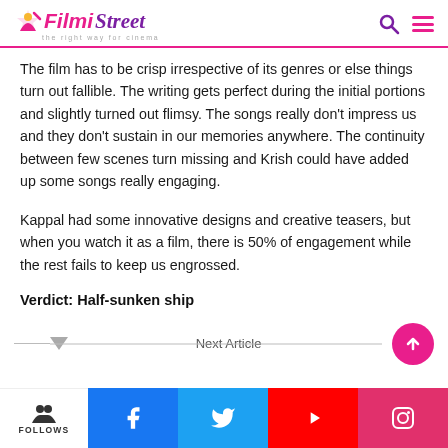Filmi Street — The right way for cinema
The film has to be crisp irrespective of its genres or else things turn out fallible. The writing gets perfect during the initial portions and slightly turned out flimsy. The songs really don't impress us and they don't sustain in our memories anywhere. The continuity between few scenes turn missing and Krish could have added up some songs really engaging.
Kappal had some innovative designs and creative teasers, but when you watch it as a film, there is 50% of engagement while the rest fails to keep us engrossed.
Verdict: Half-sunken ship
Next Article | FOLLOWS | Facebook | Twitter | YouTube | Instagram